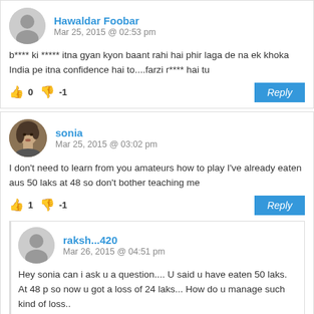[Figure (illustration): Comment block from Hawaldar Foobar with default grey avatar, dated Mar 25, 2015 @ 02:53 pm]
b**** ki ***** itna gyan kyon baant rahi hai phir laga de na ek khoka India pe itna confidence hai to....farzi r**** hai tu
👍 0 👎 -1   Reply
[Figure (photo): Comment block from sonia with profile photo, dated Mar 25, 2015 @ 03:02 pm]
I don't need to learn from you amateurs how to play I've already eaten aus 50 laks at 48 so don't bother teaching me
👍 1 👎 -1   Reply
[Figure (illustration): Nested comment from raksh...420 with default grey avatar, dated Mar 26, 2015 @ 04:51 pm]
Hey sonia can i ask u a question.... U said u have eaten 50 laks. At 48 p so now u got a loss of 24 laks... How do u manage such kind of loss..